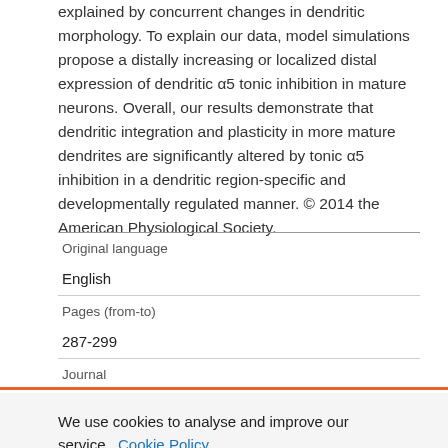explained by concurrent changes in dendritic morphology. To explain our data, model simulations propose a distally increasing or localized distal expression of dendritic α5 tonic inhibition in mature neurons. Overall, our results demonstrate that dendritic integration and plasticity in more mature dendrites are significantly altered by tonic α5 inhibition in a dendritic region-specific and developmentally regulated manner. © 2014 the American Physiological Society.
| Original language |  |
| English |  |
| Pages (from-to) |  |
| 287-299 |  |
| Journal |  |
We use cookies to analyse and improve our service. Cookie Policy